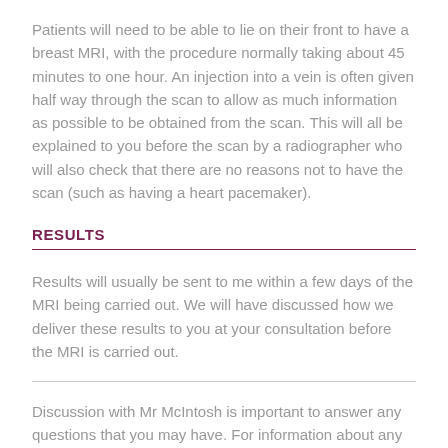Patients will need to be able to lie on their front to have a breast MRI, with the procedure normally taking about 45 minutes to one hour. An injection into a vein is often given half way through the scan to allow as much information as possible to be obtained from the scan. This will all be explained to you before the scan by a radiographer who will also check that there are no reasons not to have the scan (such as having a heart pacemaker).
RESULTS
Results will usually be sent to me within a few days of the MRI being carried out. We will have discussed how we deliver these results to you at your consultation before the MRI is carried out.
Discussion with Mr McIntosh is important to answer any questions that you may have. For information about any